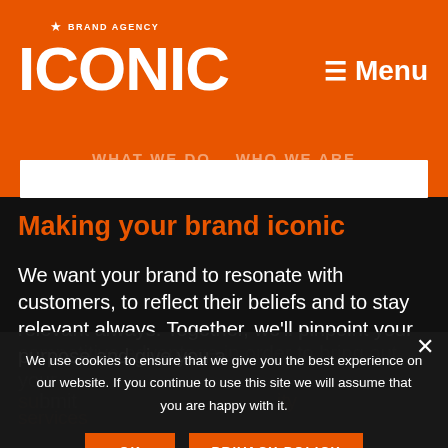★ BRAND AGENCY ICONIC ☰ Menu
Making your brand iconic
We want your brand to resonate with customers, to reflect their beliefs and to stay relevant always. Together, we'll pinpoint your purpose and give you a competitive advantage in order to bring out your su... services
We use cookies to ensure that we give you the best experience on our website. If you continue to use this site we will assume that you are happy with it.
OK   PRIVACY POLICY